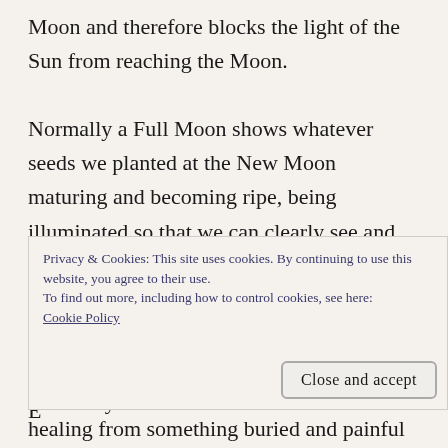Moon and therefore blocks the light of the Sun from reaching the Moon.
Normally a Full Moon shows whatever seeds we planted at the New Moon maturing and becoming ripe, being illuminated so that we can clearly see and understand our course of action and its results. At a Lunar Eclipse the illumination is interrupted and blocked. This can be disorientating, things are obscured and we can't fully discern what is ahead.
Privacy & Cookies: This site uses cookies. By continuing to use this website, you agree to their use. To find out more, including how to control cookies, see here: Cookie Policy
Close and accept
healing from something buried and painful